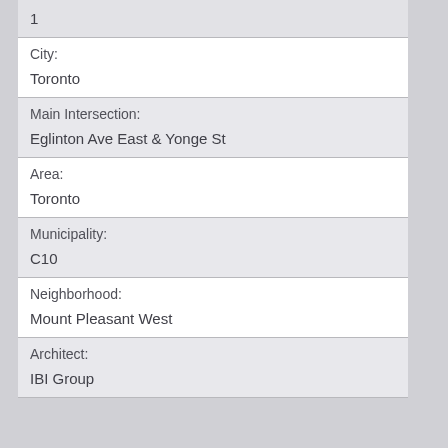1
City:
Toronto
Main Intersection:
Eglinton Ave East & Yonge St
Area:
Toronto
Municipality:
C10
Neighborhood:
Mount Pleasant West
Architect:
IBI Group